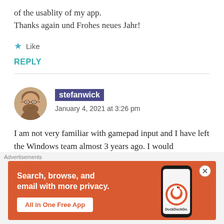of the usablity of my app.
Thanks again und Frohes neues Jahr!
★ Like
REPLY
stefanwick
January 4, 2021 at 3:26 pm
I am not very familiar with gamepad input and I have left the Windows team almost 3 years ago. I would
[Figure (photo): Avatar photo of user stefanwick - a bearded man with glasses, circular crop]
[Figure (infographic): DuckDuckGo advertisement banner: orange background, white text 'Search, browse, and email with more privacy. All in One Free App', phone mockup showing DuckDuckGo app]
Advertisements